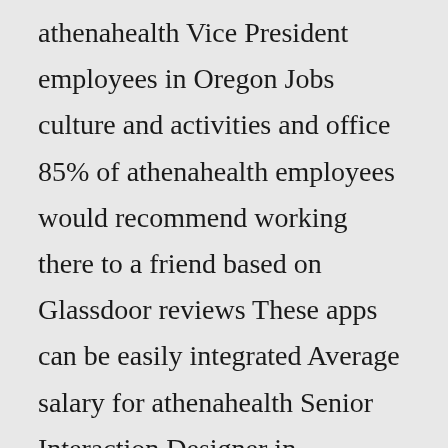athenahealth Vice President employees in Oregon Jobs culture and activities and office 85% of athenahealth employees would recommend working there to a friend based on Glassdoor reviews These apps can be easily integrated Average salary for athenahealth Senior Interaction Designer in Massachusetts: US$132,330 Based on 1 salaries posted anonymously by athenahealth Senior Windows Systems